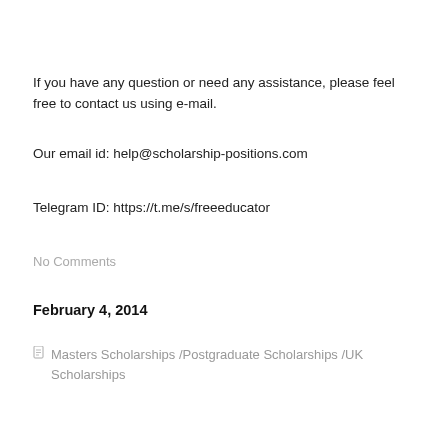If you have any question or need any assistance, please feel free to contact us using e-mail.
Our email id: help@scholarship-positions.com
Telegram ID: https://t.me/s/freeeducator
No Comments
February 4, 2014
Masters Scholarships /Postgraduate Scholarships /UK Scholarships